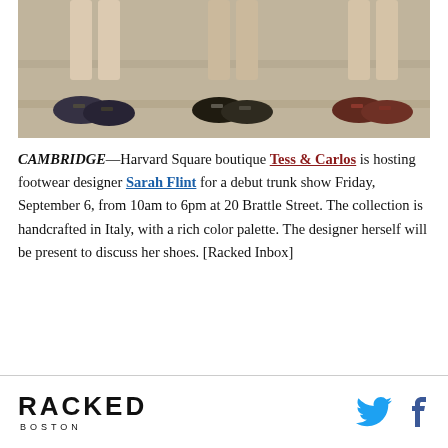[Figure (photo): Three women seated on stone steps, only their legs and feet visible, wearing flat shoes in dark colors (navy, black, burgundy)]
CAMBRIDGE—Harvard Square boutique Tess & Carlos is hosting footwear designer Sarah Flint for a debut trunk show Friday, September 6, from 10am to 6pm at 20 Brattle Street. The collection is handcrafted in Italy, with a rich color palette. The designer herself will be present to discuss her shoes. [Racked Inbox]
RACKED BOSTON